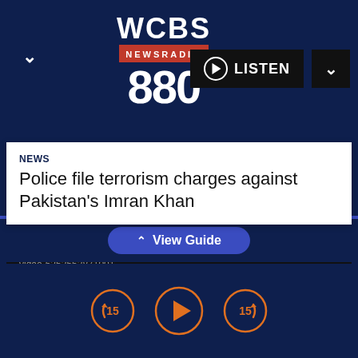[Figure (screenshot): WCBS Newsradio 880 logo with white bold text and red NEWSRADIO banner]
LISTEN
NEWS
Police file terrorism charges against Pakistan's Imran Khan
Error Code: MEDIA_ERR_SRC_NOT_SUPPORTED
Session ID: 2022-08-22:146d8fb126b5bb419cd3e55b Player Element ID: video-6252562871001
View Guide
[Figure (screenshot): Playback controls: rewind 15s, play, forward 15s buttons in orange circle style]